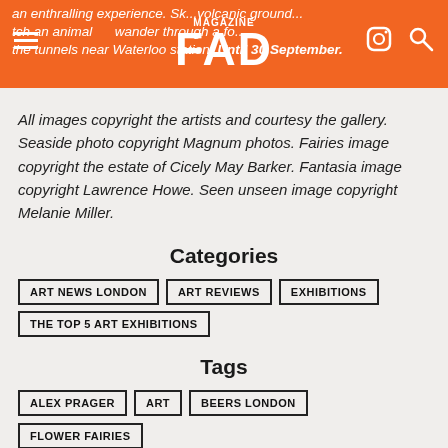FAD magazine — navigation header with orange background
an enthralling experience. Sk... volcanic ground... tch an animal... wander through a fo... the tunnels near Waterloo station. Until 30 September.
All images copyright the artists and courtesy the gallery. Seaside photo copyright Magnum photos. Fairies image copyright the estate of Cicely May Barker. Fantasia image copyright Lawrence Howe. Seen unseen image copyright Melanie Miller.
Categories
ART NEWS LONDON
ART REVIEWS
EXHIBITIONS
THE TOP 5 ART EXHIBITIONS
Tags
ALEX PRAGER
ART
BEERS LONDON
FLOWER FAIRIES
GARDEN MUSEUM
GREENWICH
KIM DORLAND
LONG AND RYLE